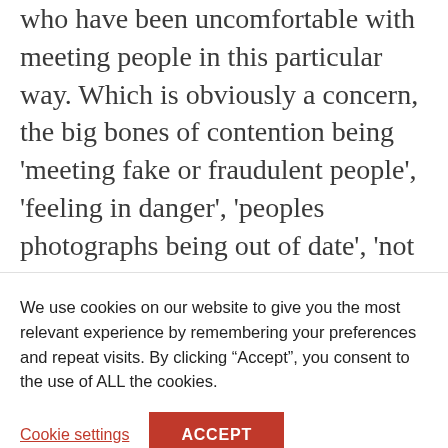who have been uncomfortable with meeting people in this particular way. Which is obviously a concern, the big bones of contention being 'meeting fake or fraudulent people', 'feeling in danger', 'peoples photographs being out of date', 'not being convinced that the person you are meeting is 100% who they say they are', 'meeting people already with a
We use cookies on our website to give you the most relevant experience by remembering your preferences and repeat visits. By clicking “Accept”, you consent to the use of ALL the cookies.
Cookie settings
ACCEPT